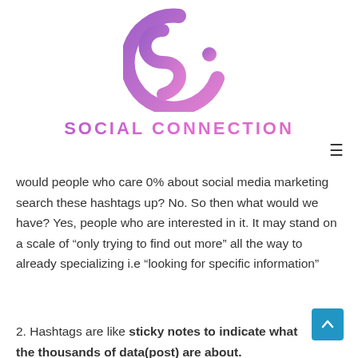[Figure (logo): Social Connection logo: stylized 'SC' letters in purple-to-pink gradient forming an abstract circular shape with a small dot]
SOCIAL CONNECTION
would people who care 0% about social media marketing search these hashtags up? No. So then what would we have? Yes, people who are interested in it. It may stand on a scale of “only trying to find out more” all the way to already specializing i.e “looking for specific information”
2. Hashtags are like sticky notes to indicate what the thousands of data(post) are about. Furthermore, now